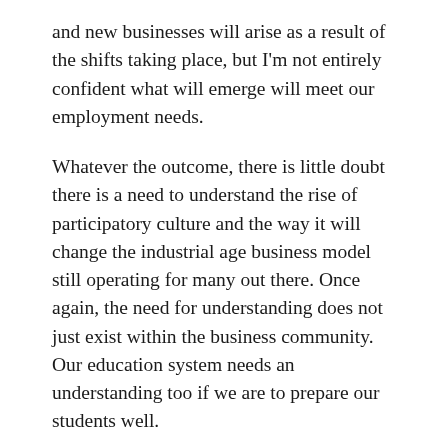and new businesses will arise as a result of the shifts taking place, but I'm not entirely confident what will emerge will meet our employment needs.
Whatever the outcome, there is little doubt there is a need to understand the rise of participatory culture and the way it will change the industrial age business model still operating for many out there. Once again, the need for understanding does not just exist within the business community. Our education system needs an understanding too if we are to prepare our students well.
A good place to start to understand what business is thinking is Slideshare. I've taken to viewing the home page on a regular basis and looking at the top presentations of the day. You can learn an awful lot from what people are posting. One such presentation caught my eye just the other day. Take a look at 'Invasion of the